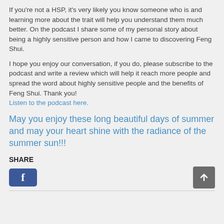If you're not a HSP, it's very likely you know someone who is and learning more about the trait will help you understand them much better. On the podcast I share some of my personal story about being a highly sensitive person and how I came to discovering Feng Shui.
I hope you enjoy our conversation, if you do, please subscribe to the podcast and write a review which will help it reach more people and spread the word about highly sensitive people and the benefits of Feng Shui. Thank you! Listen to the podcast here.
May you enjoy these long beautiful days of summer and may your heart shine with the radiance of the summer sun!!!
SHARE